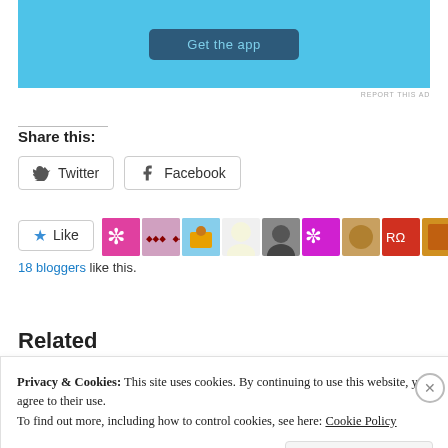[Figure (screenshot): Advertisement banner with 'Get the app' button on blue background]
REPORT THIS AD
Share this:
[Figure (screenshot): Twitter and Facebook share buttons]
[Figure (screenshot): Like button with star icon and blogger avatar thumbnails]
18 bloggers like this.
Related
Privacy & Cookies: This site uses cookies. By continuing to use this website, you agree to their use.
To find out more, including how to control cookies, see here: Cookie Policy
Close and accept
[Figure (screenshot): Bottom green advertisement bar with REPORT THIS AD label]